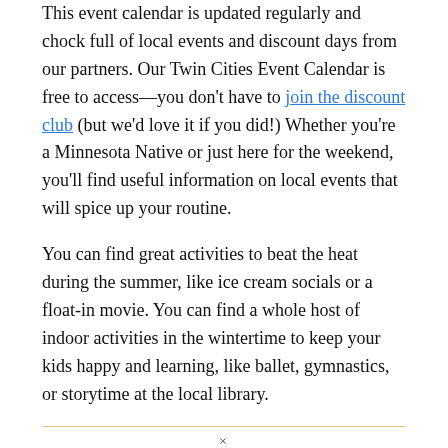This event calendar is updated regularly and chock full of local events and discount days from our partners. Our Twin Cities Event Calendar is free to access—you don't have to join the discount club (but we'd love it if you did!) Whether you're a Minnesota Native or just here for the weekend, you'll find useful information on local events that will spice up your routine.
You can find great activities to beat the heat during the summer, like ice cream socials or a float-in movie. You can find a whole host of indoor activities in the wintertime to keep your kids happy and learning, like ballet, gymnastics, or storytime at the local library.